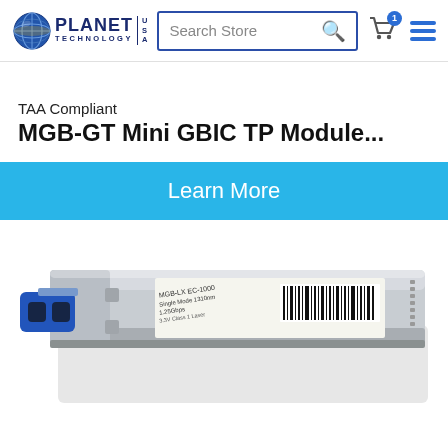[Figure (logo): Planet Technology USA logo with globe graphic]
Search Store
TAA Compliant
MGB-GT Mini GBIC TP Module...
Learn More
[Figure (photo): Planet Technology MGB-LX Mini GBIC SFP fiber optic transceiver module with blue LC connector, silver casing, and product label showing Single Mode 1250bps specifications]